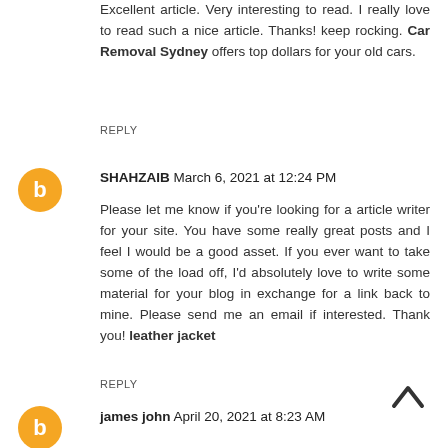Excellent article. Very interesting to read. I really love to read such a nice article. Thanks! keep rocking. Car Removal Sydney offers top dollars for your old cars.
REPLY
SHAHZAIB March 6, 2021 at 12:24 PM
Please let me know if you're looking for a article writer for your site. You have some really great posts and I feel I would be a good asset. If you ever want to take some of the load off, I'd absolutely love to write some material for your blog in exchange for a link back to mine. Please send me an email if interested. Thank you! leather jacket
REPLY
james john April 20, 2021 at 8:23 AM